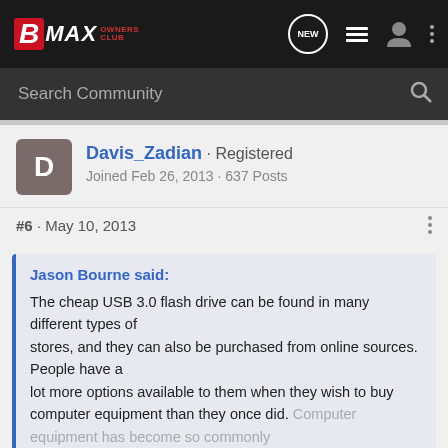[Figure (screenshot): BMax Owners Club navigation bar with logo, NEW button, list icon, user icon, and dots menu icon on dark background]
[Figure (screenshot): Search Community search bar on dark grey background with magnifying glass icon]
Davis_Zadian · Registered
Joined Feb 26, 2013 · 637 Posts
#6 · May 10, 2013
Jason Bourne said:
The cheap USB 3.0 flash drive can be found in many different types of
stores, and they can also be purchased from online sources. People have a
lot more options available to them when they wish to buy computer equipment than they once did. Computer equipment has become so commonly
Click to expand...